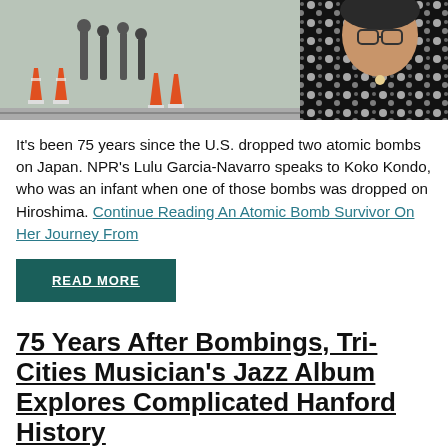[Figure (photo): Photo of an elderly woman in a black and white patterned dress with orange traffic cones and people in the background]
It's been 75 years since the U.S. dropped two atomic bombs on Japan. NPR's Lulu Garcia-Navarro speaks to Koko Kondo, who was an infant when one of those bombs was dropped on Hiroshima. Continue Reading An Atomic Bomb Survivor On Her Journey From
READ MORE
75 Years After Bombings, Tri-Cities Musician's Jazz Album Explores Complicated Hanford History